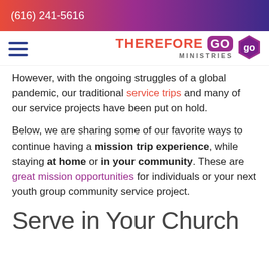(616) 241-5616
[Figure (logo): Therefore Go Ministries logo with hamburger menu icon]
However, with the ongoing struggles of a global pandemic, our traditional service trips and many of our service projects have been put on hold.
Below, we are sharing some of our favorite ways to continue having a mission trip experience, while staying at home or in your community. These are great mission opportunities for individuals or your next youth group community service project.
Serve in Your Church